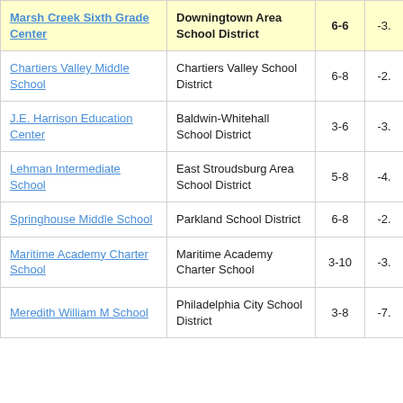| School | District | Grades | Value |
| --- | --- | --- | --- |
| Marsh Creek Sixth Grade Center | Downingtown Area School District | 6-6 | -3. |
| Chartiers Valley Middle School | Chartiers Valley School District | 6-8 | -2. |
| J.E. Harrison Education Center | Baldwin-Whitehall School District | 3-6 | -3. |
| Lehman Intermediate School | East Stroudsburg Area School District | 5-8 | -4. |
| Springhouse Middle School | Parkland School District | 6-8 | -2. |
| Maritime Academy Charter School | Maritime Academy Charter School | 3-10 | -3. |
| Meredith William M School | Philadelphia City School District | 3-8 | -7. |